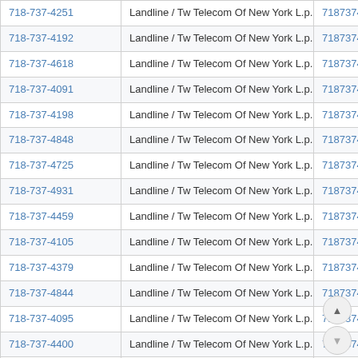| Phone | Type / Carrier | Number |
| --- | --- | --- |
| 718-737-4251 | Landline / Tw Telecom Of New York L.p. | 7187374251 |
| 718-737-4192 | Landline / Tw Telecom Of New York L.p. | 7187374192 |
| 718-737-4618 | Landline / Tw Telecom Of New York L.p. | 7187374618 |
| 718-737-4091 | Landline / Tw Telecom Of New York L.p. | 7187374091 |
| 718-737-4198 | Landline / Tw Telecom Of New York L.p. | 7187374198 |
| 718-737-4848 | Landline / Tw Telecom Of New York L.p. | 7187374848 |
| 718-737-4725 | Landline / Tw Telecom Of New York L.p. | 7187374725 |
| 718-737-4931 | Landline / Tw Telecom Of New York L.p. | 7187374931 |
| 718-737-4459 | Landline / Tw Telecom Of New York L.p. | 7187374459 |
| 718-737-4105 | Landline / Tw Telecom Of New York L.p. | 7187374105 |
| 718-737-4379 | Landline / Tw Telecom Of New York L.p. | 7187374379 |
| 718-737-4844 | Landline / Tw Telecom Of New York L.p. | 7187374844 |
| 718-737-4095 | Landline / Tw Telecom Of New York L.p. | 7187374095 |
| 718-737-4400 | Landline / Tw Telecom Of New York L.p. | 7187374400 |
| 718-737-4434 | Landline / Tw Telecom Of New York L.p. | 7187... |
| 718-737-4791 | Landline / Tw Telecom Of New York L.p. | 71873... |
| 718-737-4738 | Landline / Tw Telecom Of New York L.p. | 7187374738 |
| 718-737-4735 | Landline / Tw Telecom Of New York L.p. | 7187374735 |